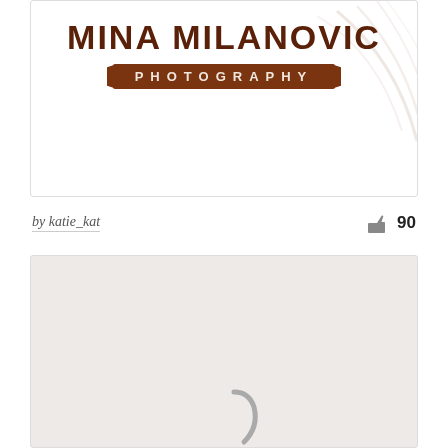[Figure (logo): Mina Milanovic Photography logo — large dark brown serif text 'MINA MILANOVIC' above a brown badge reading 'PHOTOGRAPHY' in spaced caps, with decorative swirl lines in the upper right background.]
by katie_kat
90
[Figure (other): Loading placeholder card with light grey background showing a partial grey spinner/loading arc at the bottom center.]